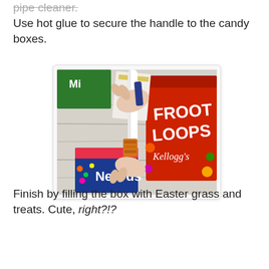pipe cleaner.
Use hot glue to secure the handle to the candy boxes.
[Figure (photo): Hands assembling a craft project using candy boxes including Nerds and Froot Loops cereal box as materials, with a white cylindrical handle being attached, on a white wooden surface.]
Finish by filling the box with Easter grass and treats. Cute, right?!?